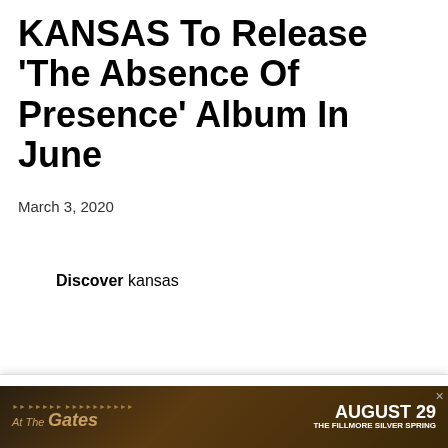KANSAS To Release 'The Absence Of Presence' Album In June
March 3, 2020
Discover kansas
[Figure (screenshot): Music player bar with Play buttons for Apple Music, Amazon Music, Pandora, and a Download button]
This website uses cookies and other tracking technologies to enhance user experience and to analyze performance and traffic on our website. Information about your use of our site may also be shared with social media, advertising, retail and analytics providers and partners. Privacy Policy
[Figure (photo): Advertisement banner for At The Gates, August 29, The Fillmore Silver Spring]